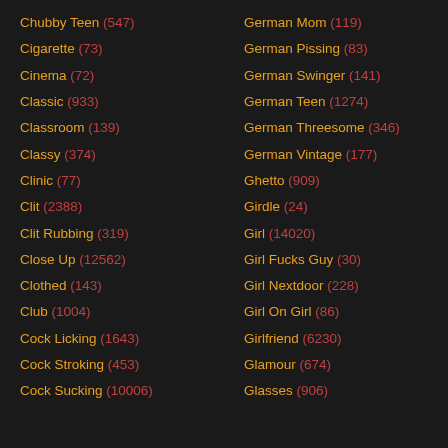Chubby Teen (547)
Cigarette (73)
Cinema (72)
Classic (933)
Classroom (139)
Classy (374)
Clinic (77)
Clit (2388)
Clit Rubbing (319)
Close Up (12562)
Clothed (143)
Club (1004)
Cock Licking (1643)
Cock Stroking (453)
Cock Sucking (10006)
German Mom (119)
German Pissing (83)
German Swinger (141)
German Teen (1274)
German Threesome (346)
German Vintage (177)
Ghetto (909)
Girdle (24)
Girl (14020)
Girl Fucks Guy (30)
Girl Nextdoor (228)
Girl On Girl (86)
Girlfriend (6230)
Glamour (674)
Glasses (906)